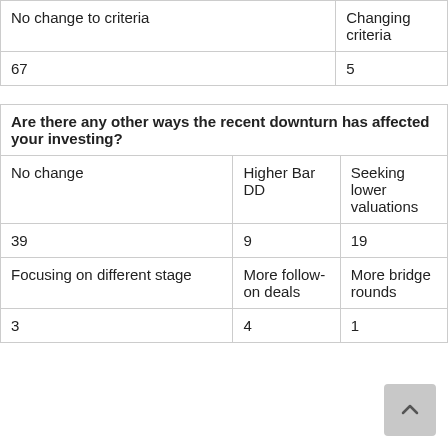| No change to criteria | Changing criteria |
| --- | --- |
| 67 | 5 |
| Are there any other ways the recent downturn has affected your investing? |  |  |
| --- | --- | --- |
| No change | Higher Bar DD | Seeking lower valuations |
| 39 | 9 | 19 |
| Focusing on different stage | More follow-on deals | More bridge rounds |
| 3 | 4 | 1 |